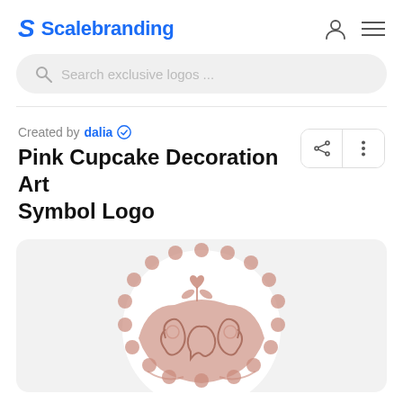Scalebranding
Search exclusive logos ...
Created by dalia ✓
Pink Cupcake Decoration Art Symbol Logo
[Figure (logo): Pink cupcake decoration art symbol logo — a round ornamental cupcake design with scalloped edges and intricate pink floral/folk art patterns, partially shown cropped at page bottom.]